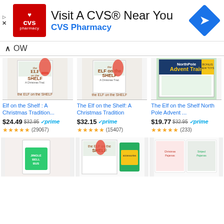[Figure (screenshot): CVS Pharmacy advertisement banner with logo, 'Visit A CVS® Near You' text, navigation icon]
OW
[Figure (photo): Elf on the Shelf A Christmas Tradition product box with elf doll figure]
[Figure (photo): The Elf on the Shelf A Christmas Tradition product box with elf doll figure]
[Figure (photo): The Elf on the Shelf North Pole Advent Train activity set box]
Elf on the Shelf : A Christmas Tradition...
The Elf on the Shelf: A Christmas Tradition
The Elf on the Shelf North Pole Advent ...
$24.49  $32.95  ✓prime
$32.15  ✓prime
$19.77  $32.95  ✓prime
★★★★★ (29067)
★★★★★ (15407)
★★★★★ (233)
[Figure (photo): Elf on the Shelf doll in green outfit product package]
[Figure (photo): Elf on the Shelf activity kit with doll and accessories]
[Figure (photo): Christmas pajama set with Elf on the Shelf design]